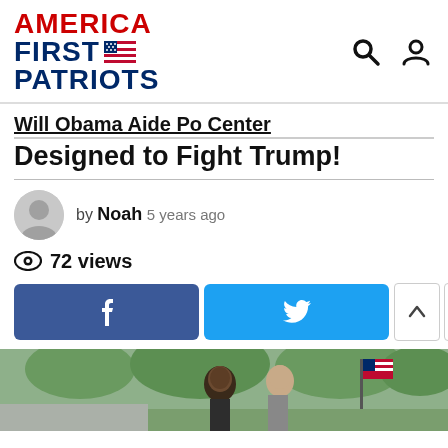AMERICA FIRST PATRIOTS
Will Obama Aide Po Center Designed to Fight Trump!
by Noah  5 years ago
72 views
[Figure (screenshot): Facebook share button (blue) and Twitter share button (light blue) with up/down arrow buttons]
[Figure (photo): Photo of Barack Obama outdoors with another person, trees and American flag in background]